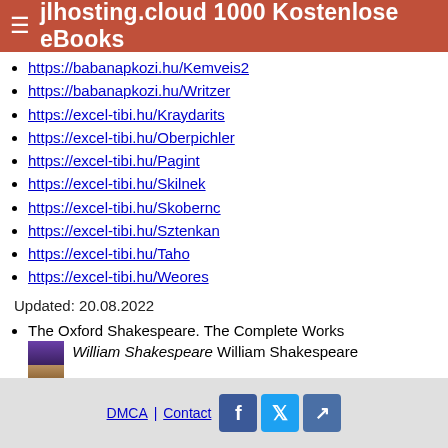jlhosting.cloud 1000 Kostenlose eBooks
https://babanapkozi.hu/Kemveis2
https://babanapkozi.hu/Writzer
https://excel-tibi.hu/Kraydarits
https://excel-tibi.hu/Oberpichler
https://excel-tibi.hu/Pagint
https://excel-tibi.hu/Skilnek
https://excel-tibi.hu/Skobernc
https://excel-tibi.hu/Sztenkan
https://excel-tibi.hu/Taho
https://excel-tibi.hu/Weores
Updated: 20.08.2022
The Oxford Shakespeare. The Complete Works William Shakespeare William Shakespeare
The Oxford Shakespeare. The Complete Works William Shakespeare
DMCA | Contact